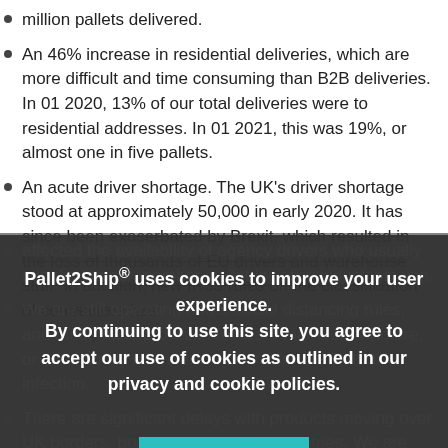million pallets delivered.
An 46% increase in residential deliveries, which are more difficult and time consuming than B2B deliveries. In 01 2020, 13% of our total deliveries were to residential addresses. In 01 2021, this was 19%, or almost one in five pallets.
An acute driver shortage. The UK’s driver shortage stood at approximately 50,000 in early 2020. It has since been exacerbated by Brexit, which resulted in the loss of thousands of EU drivers and warehouse staff. In addition, new IR35 rules on the classification of contractors has affected the availability of agency drivers who usually supplied to our member, pallet logistics industry is use.
Pallet2Ship® uses cookies to improve your user experience. By continuing to use this site, you agree to accept our use of cookies as outlined in our privacy and cookie policies.
We are still operating under social distancing rules, and must make provision for team members who are, or have family members, vulnerable to COVID19 infection.
There are significant delays with products moving over UK borders, both to and from EU countries. We are doing our best to support customers and expedite consignments but this is a resource-heavy task which has been challenging for us all.